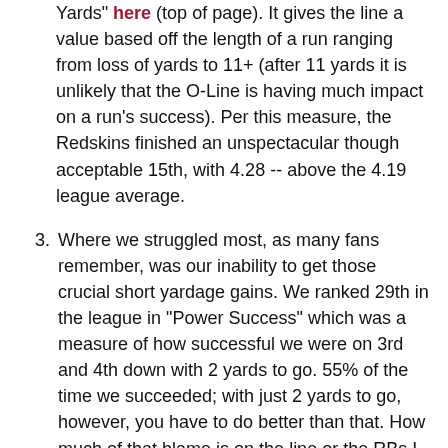Yards" here (top of page). It gives the line a value based off the length of a run ranging from loss of yards to 11+ (after 11 yards it is unlikely that the O-Line is having much impact on a run's success). Per this measure, the Redskins finished an unspectacular though acceptable 15th, with 4.28 -- above the 4.19 league average.
3. Where we struggled most, as many fans remember, was our inability to get those crucial short yardage gains. We ranked 29th in the league in "Power Success" which was a measure of how successful we were on 3rd and 4th down with 2 yards to go. 55% of the time we succeeded; with just 2 yards to go, however, you have to do better than that. How much of that blame is on the line or the RBs I leave to the readers, but at least some of